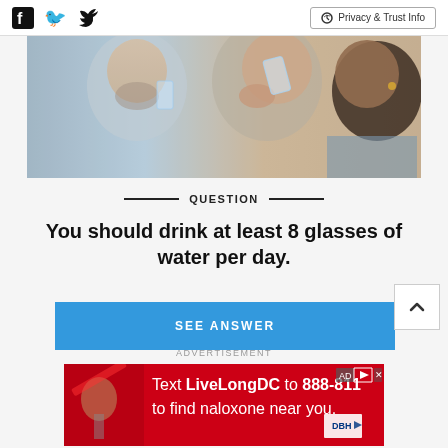Privacy & Trust Info
[Figure (photo): Two people drinking water from glasses, close-up shot]
QUESTION
You should drink at least 8 glasses of water per day.
SEE ANSWER
ADVERTISEMENT
[Figure (photo): Advertisement banner: Text LiveLongDC to 888-811 to find naloxone near you. DBH logo.]